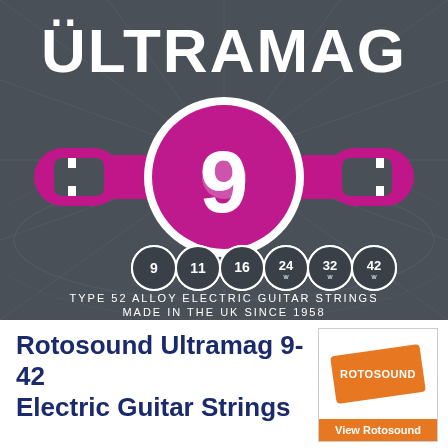[Figure (photo): Rotosound Ultramag 9-42 electric guitar strings product packaging. Dark grey/charcoal background with radiating lines. Large white 'ULTRAMAG' text at top with umlaut over U. Central magnet graphic in magenta/pink with horseshoe magnet shape and large number '9' in white circle in the center. Six string gauge bubbles: 9, 11, 16, 24w, 32w, 42w. Text below: TYPE 52 ALLOY ELECTRIC GUITAR STRINGS / MADE IN THE UK SINCE 1958.]
Rotosound Ultramag 9-42 Electric Guitar Strings
[Figure (logo): Rotosound brand logo — orange diamond/rhombus shape with white 'ROTOSOUND' text inside. Below it an orange bar with white text 'View Rotosound'.]